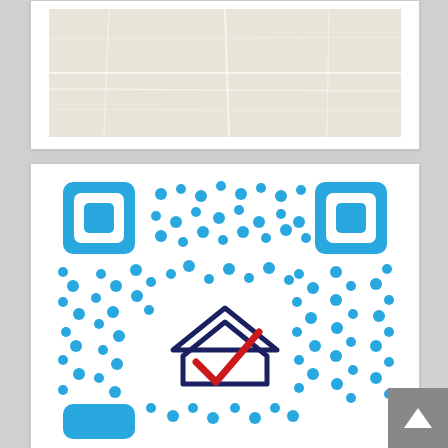[Figure (map): Partial map view with beige/tan background, appearing to show a geographic area map]
[Figure (other): Blue QR code with a voting/ballot box icon (house shape with checkmark in red and navy) in the center, used for voter registration or election information]